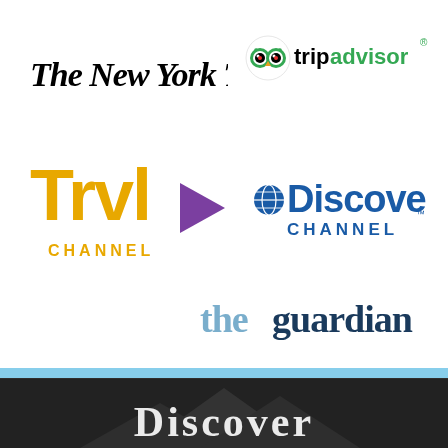[Figure (logo): The New York Times logo in black serif italic font]
[Figure (logo): TripAdvisor logo with owl icon in green and black]
[Figure (logo): Travel Channel (Trvl+) logo in gold/yellow with purple arrow]
[Figure (logo): Discovery Channel logo with globe icon in blue]
[Figure (logo): The Guardian logo in blue serif font]
[Figure (photo): Dark mountain/landscape photo with Discover text at bottom, blue bar separator]